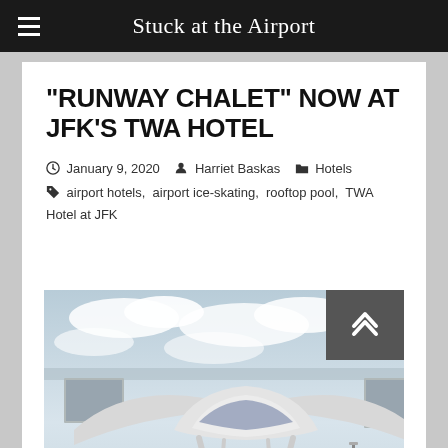Stuck at the Airport
“RUNWAY CHALET” NOW AT JFK’S TWA HOTEL
January 9, 2020  Harriet Baskas  Hotels  airport hotels, airport ice-skating, rooftop pool, TWA Hotel at JFK
[Figure (photo): Aerial/elevated view of the TWA Hotel at JFK airport, showing the iconic curved white roof structure with glass facades, buses and roadway in the foreground, cloudy sky in background]